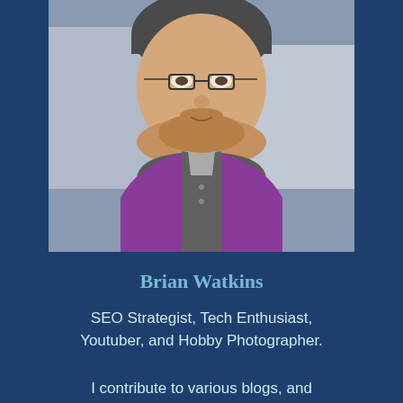[Figure (photo): Portrait photo of Brian Watkins, a young man with a beard, glasses, wearing a grey beanie hat, purple shirt and grey vest, photographed outdoors in an urban setting]
Brian Watkins
SEO Strategist, Tech Enthusiast, Youtuber, and Hobby Photographer.
I contribute to various blogs, and